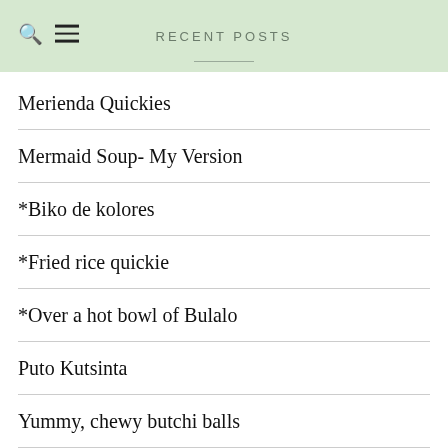RECENT POSTS
Merienda Quickies
Mermaid Soup- My Version
*Biko de kolores
*Fried rice quickie
*Over a hot bowl of Bulalo
Puto Kutsinta
Yummy, chewy butchi balls
Wait, there’s a bat in your soup!
Authentic Mexican style chicken (and how I ended up